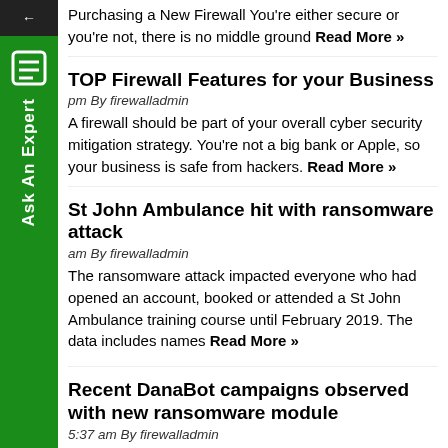Purchasing a New Firewall You're either secure or you're not, there is no middle ground Read More »
TOP Firewall Features for your Business
pm By firewalladmin
A firewall should be part of your overall cyber security mitigation strategy. You're not a big bank or Apple, so your business is safe from hackers. Read More »
St John Ambulance hit with ransomware attack
am By firewalladmin
The ransomware attack impacted everyone who had opened an account, booked or attended a St John Ambulance training course until February 2019. The data includes names Read More »
Recent DanaBot campaigns observed with new ransomware module
5:37 am By firewalladmin
DanaBot campaigns targeted at European countries also drop a ransomware executable onto target systems. The trojan also comes with new plugins, configuration files, and other updates. Read More »